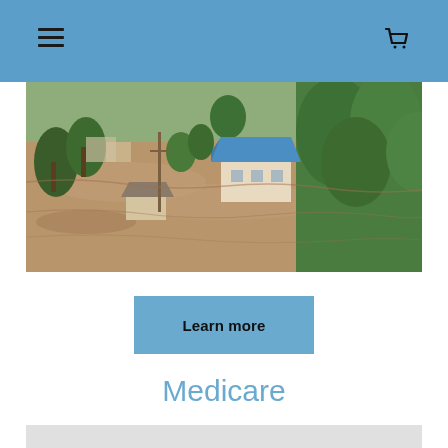[Figure (photo): Aerial view of flooded rural area with houses, muddy brown flood water covering roads and fields, surrounded by green trees and vegetation, blue-roofed building visible in center.]
Learn more
Medicare
[Figure (photo): Bottom portion of a grey image, partially visible.]